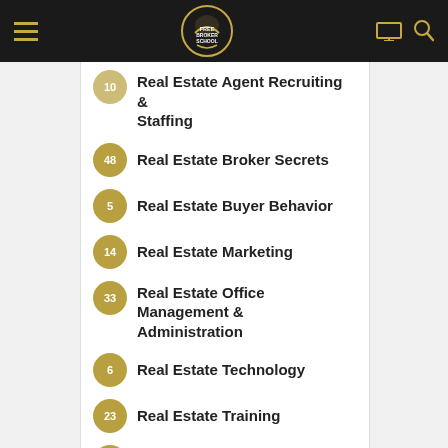Free Broker School navigation bar
10 Real Estate Agent Recruiting & Staffing
48 Real Estate Broker Secrets
5 Real Estate Buyer Behavior
14 Real Estate Marketing
33 Real Estate Office Management & Administration
6 Real Estate Technology
23 Real Estate Training
18 Sales Closing Techniques
8 Social Media Marketing Training
106 Videos